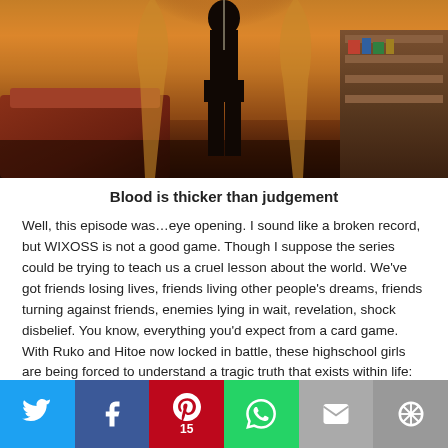[Figure (illustration): Anime scene showing a dark silhouette of a person standing in front of a bright glowing window in a bedroom, with warm orange and yellow lighting. A bed is visible on the left and a bookshelf on the right.]
Blood is thicker than judgement
Well, this episode was…eye opening. I sound like a broken record, but WIXOSS is not a good game. Though I suppose the series could be trying to teach us a cruel lesson about the world. We've got friends losing lives, friends living other people's dreams, friends turning against friends, enemies lying in wait, revelation, shock disbelief. You know, everything you'd expect from a card game. With Ruko and Hitoe now locked in battle, these highschool girls are being forced to understand a tragic truth that exists within life: